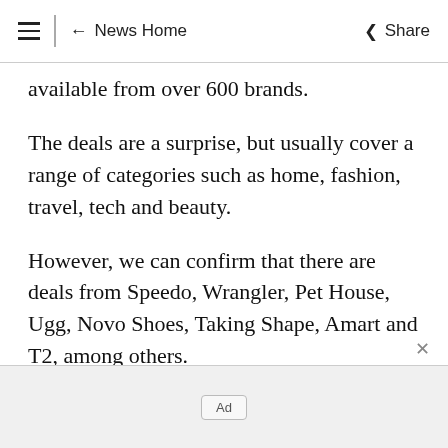≡  ← News Home   Share
available from over 600 brands.
The deals are a surprise, but usually cover a range of categories such as home, fashion, travel, tech and beauty.
However, we can confirm that there are deals from Speedo, Wrangler, Pet House, Ugg, Novo Shoes, Taking Shape, Amart and T2, among others.
Ad